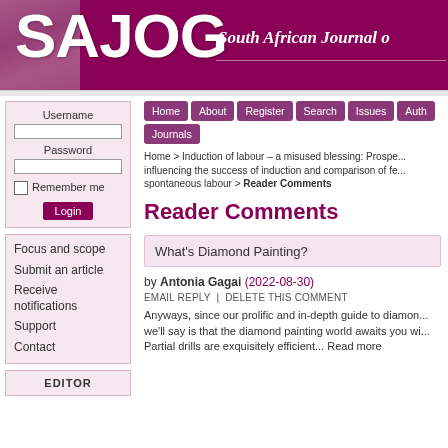[Figure (logo): SAJOG South African Journal of Obstetrics and Gynaecology header banner with purple background]
Username
Password
Remember me
Login
Focus and scope
Submit an article
Receive notifications
Support
Contact
EDITOR
Home | About | Register | Search | Issues | Auth | Journals
Home > Induction of labour – a misused blessing: Prospective study of factors influencing the success of induction and comparison of fetal outcomes with spontaneous labour > Reader Comments
Reader Comments
What's Diamond Painting?
by Antonia Gagai (2022-08-30)
EMAIL REPLY  |  DELETE THIS COMMENT
Anyways, since our prolific and in-depth guide to diamond... we'll say is that the diamond painting world awaits you wi... Partial drills are exquisitely efficient... Read more